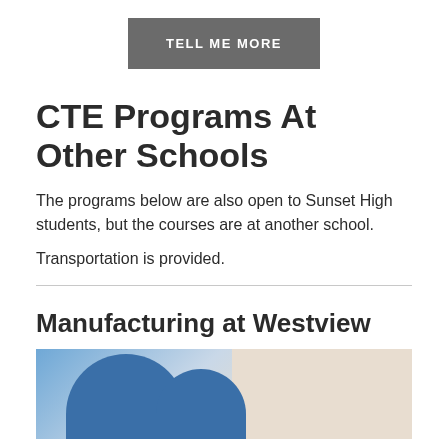[Figure (other): A grey button with white uppercase text reading TELL ME MORE]
CTE Programs At Other Schools
The programs below are also open to Sunset High students, but the courses are at another school.
Transportation is provided.
Manufacturing at Westview
[Figure (photo): Two people in blue shirts looking down at something, likely a manufacturing or technical task. Appears to be an instructional or workshop setting.]